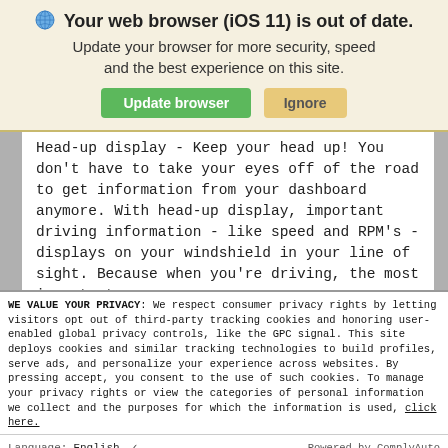Your web browser (iOS 11) is out of date. Update your browser for more security, speed and the best experience on this site.
Head-up display - Keep your head up! You don't have to take your eyes off of the road to get information from your dashboard anymore. With head-up display, important driving information - like speed and RPM's - displays on your windshield in your line of sight. Because when you're driving, the most important
WE VALUE YOUR PRIVACY: We respect consumer privacy rights by letting visitors opt out of third-party tracking cookies and honoring user-enabled global privacy controls, like the GPC signal. This site deploys cookies and similar tracking technologies to build profiles, serve ads, and personalize your experience across websites. By pressing accept, you consent to the use of such cookies. To manage your privacy rights or view the categories of personal information we collect and the purposes for which the information is used, click here.
Language: English   ✓   Powered by ComplyAuto